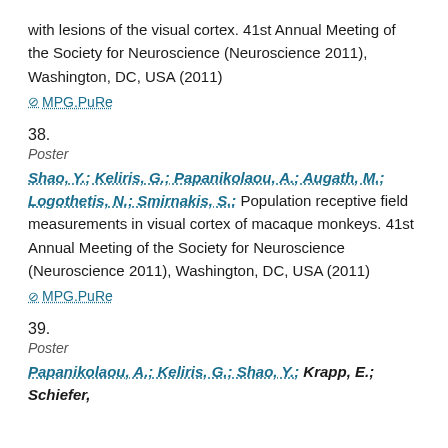with lesions of the visual cortex. 41st Annual Meeting of the Society for Neuroscience (Neuroscience 2011), Washington, DC, USA (2011)
⊘ MPG.PuRe
38.
Poster
Shao, Y.; Keliris, G.; Papanikolaou, A.; Augath, M.; Logothetis, N.; Smirnakis, S.: Population receptive field measurements in visual cortex of macaque monkeys. 41st Annual Meeting of the Society for Neuroscience (Neuroscience 2011), Washington, DC, USA (2011)
⊘ MPG.PuRe
39.
Poster
Papanikolaou, A.; Keliris, G.; Shao, Y.; Krapp, E.; Schiefer,